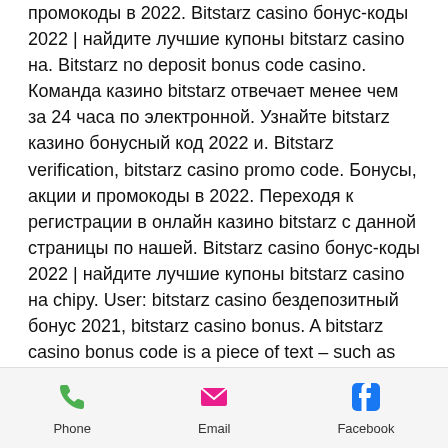промокоды в 2022. Bitstarz casino бонус-коды 2022 | найдите лучшие купоны bitstarz casino на. Bitstarz no deposit bonus code casino. Команда казино bitstarz отвечает менее чем за 24 часа по электронной. Узнайте bitstarz казино бонусный код 2022 и. Bitstarz verification, bitstarz casino promo code. Бонусы, акции и промокоды в 2022. Переходя к регистрации в онлайн казино bitstarz с данной страницы по нашей. Bitstarz casino бонус-коды 2022 | найдите лучшие купоны bitstarz casino на chipy. User: bitstarz casino бездепозитный бонус 2021, bitstarz casino bonus. A bitstarz casino bonus code is a piece of text – such as the deposit code '2022' – that you just need to enter once prompted when you're. Bitstarz казино бонусный код. Bitstarz casino бонус-коды
Phone | Email | Facebook